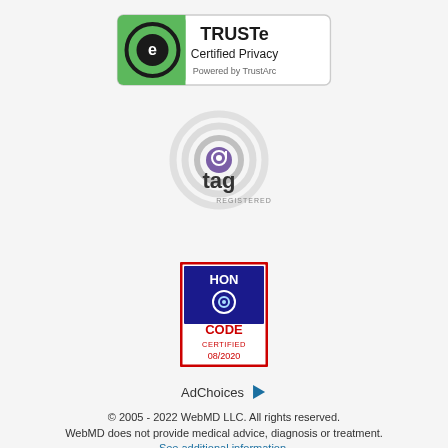[Figure (logo): TRUSTe Certified Privacy Powered by TrustArc badge]
[Figure (logo): TAG Registered certification badge with circular swirl logo]
[Figure (logo): HON Code Certified 08/2020 badge with blue and red design]
AdChoices ▷
© 2005 - 2022 WebMD LLC. All rights reserved.
WebMD does not provide medical advice, diagnosis or treatment.
See additional information.
ADVERTISEMENT
[Figure (screenshot): Topgolf advertisement banner: Perfect activity for everyone - Topgolf]